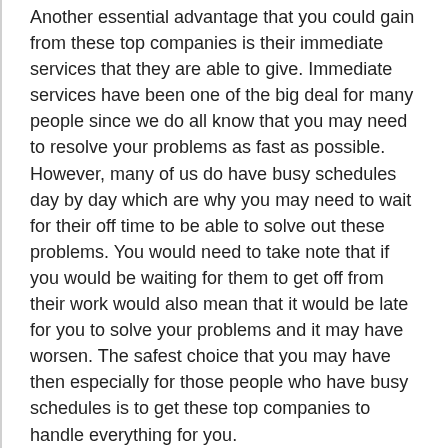Another essential advantage that you could gain from these top companies is their immediate services that they are able to give. Immediate services have been one of the big deal for many people since we do all know that you may need to resolve your problems as fast as possible. However, many of us do have busy schedules day by day which are why you may need to wait for their off time to be able to solve out these problems. You would need to take note that if you would be waiting for them to get off from their work would also mean that it would be late for you to solve your problems and it may have worsen. The safest choice that you may have then especially for those people who have busy schedules is to get these top companies to handle everything for you.
The last advantage that you would not forget to enjoy when you have these top companies is the equipment and facilities that they do possess. You would likely be able to enjoy the facilities and equipment that these top companies do have since they come with great features that you would need. We are currently living where technologies have become a part of our daily lives which is the existence of top notch equipment and facilities would help a lot for the results that you could get. However, it would be a sad fact that not anyone of us do have the access to these equipment and facilities due to the